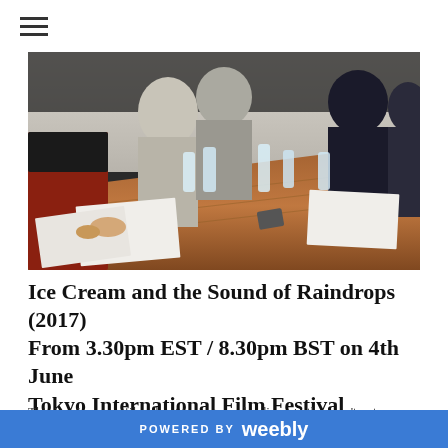≡
[Figure (photo): People seated around a conference table with water bottles, writing and reviewing documents. A meeting or workshop scene, likely in Japan.]
Ice Cream and the Sound of Raindrops (2017)
From 3.30pm EST / 8.30pm BST on 4th June
Tokyo International Film Festival
This is a Japanese film about teenagers who discover they can't put on
POWERED BY weebly